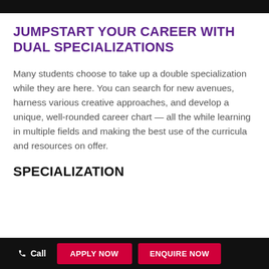JUMPSTART YOUR CAREER WITH DUAL SPECIALIZATIONS
Many students choose to take up a double specialization while they are here. You can search for new avenues, harness various creative approaches, and develop a unique, well-rounded career chart — all the while learning in multiple fields and making the best use of the curricula and resources on offer.
SPECIALIZATION
Call   APPLY NOW   ENQUIRE NOW